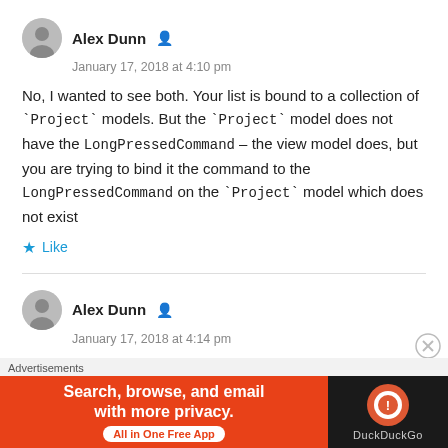Alex Dunn
January 17, 2018 at 4:10 pm
No, I wanted to see both. Your list is bound to a collection of `Project` models. But the `Project` model does not have the LongPressedCommand – the view model does, but you are trying to bind it the command to the LongPressedCommand on the `Project` model which does not exist
Like
Alex Dunn
January 17, 2018 at 4:14 pm
Advertisements
[Figure (infographic): DuckDuckGo advertisement banner: orange background with text 'Search, browse, and email with more privacy. All in One Free App' and DuckDuckGo logo on dark background.]